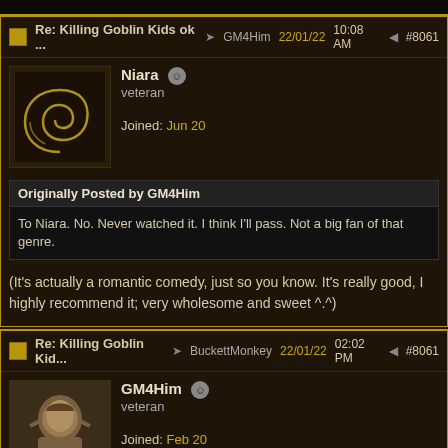Re: Killing Goblin Kids ok ... → GM4Him 22/01/22 10:08 AM #8061
Niara veteran Joined: Jun 20
Originally Posted by GM4Him
To Niara. No. Never watched it. I think I'll pass. Not a big fan of that genre.
(It's actually a romantic comedy, just so you know. It's really good, I highly recommend it; very wholesome and sweet ^.^)
Re: Killing Goblin Kid... → BuckettMonkey 22/01/22 02:02 PM #8061
GM4Him veteran Joined: Feb 20
Quote
Let's go again, are goblins inherently evil or, as Ragitsu wrote